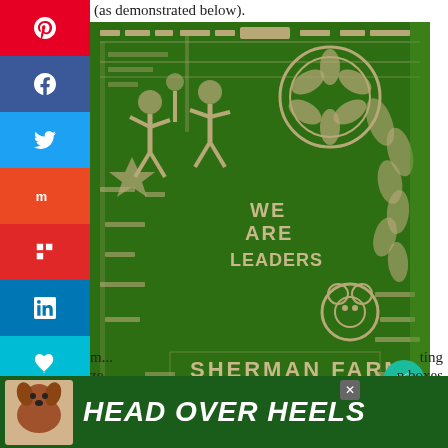(as demonstrated below).
[Figure (photo): Aerial view of Sherman Farm corn maze with 'WE ARE LEADERS' text and decorative figures carved into cornfield]
Photo courtesy of Sherman Farm.
hat sounds a bit overwhelming, there's a
aller, more simple maze available to
[Figure (infographic): What's Next widget showing 'The Best Things to D...' with thumbnail image]
m...                                   ting
ze                             n boxes
[Figure (infographic): Advertisement banner: HEAD OVER HEELS with dog photo on dark green background with close button]